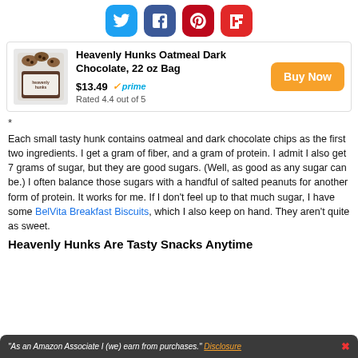[Figure (infographic): Row of four social media sharing icons: Twitter (blue), Facebook (dark blue), Pinterest (red), Flipboard (red)]
[Figure (photo): Heavenly Hunks Oatmeal Dark Chocolate 22 oz bag product image]
Heavenly Hunks Oatmeal Dark Chocolate, 22 oz Bag
$13.49 ✓prime
Rated 4.4 out of 5
Buy Now
*
Each small tasty hunk contains oatmeal and dark chocolate chips as the first two ingredients. I get a gram of fiber, and a gram of protein. I admit I also get 7 grams of sugar, but they are good sugars. (Well, as good as any sugar can be.) I often balance those sugars with a handful of salted peanuts for another form of protein. It works for me. If I don't feel up to that much sugar, I have some BelVita Breakfast Biscuits, which I also keep on hand. They aren't quite as sweet.
Heavenly Hunks Are Tasty Snacks Anytime
"As an Amazon Associate I (we) earn from purchases." Disclosure ✗